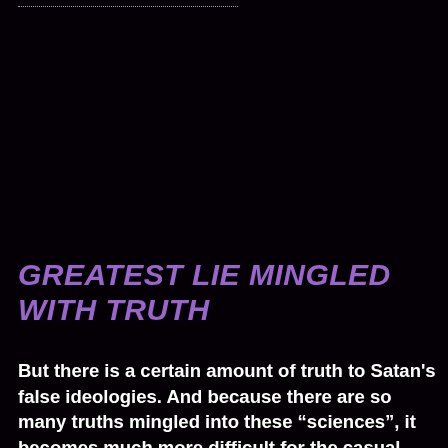GREATEST LIE MINGLED WITH TRUTH
But there is a certain amount of truth to Satan’s false ideologies. And because there are so many truths mingled into these “sciences”, it becomes much more difficult for the casual observer to